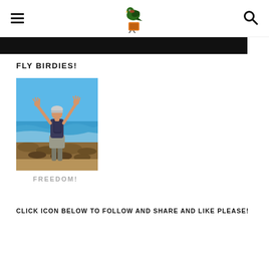FLY BIRDIES! — hamburger menu, logo, search icon
[Figure (photo): Black banner bar below header navigation]
FLY BIRDIES!
[Figure (photo): Person standing on rocky beach with arms raised in a V shape toward blue sky and ocean, wearing a hat and backpack, viewed from behind]
FREEDOM!
CLICK ICON BELOW TO FOLLOW AND SHARE AND LIKE PLEASE!